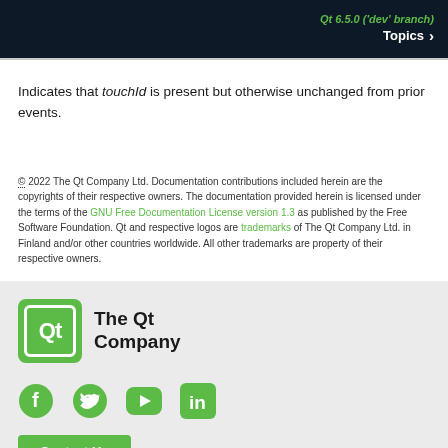Qt 6.5.0 ('dev' branch)  Topics >
Indicates that touchId is present but otherwise unchanged from prior events.
© 2022 The Qt Company Ltd. Documentation contributions included herein are the copyrights of their respective owners. The documentation provided herein is licensed under the terms of the GNU Free Documentation License version 1.3 as published by the Free Software Foundation. Qt and respective logos are trademarks of The Qt Company Ltd. in Finland and/or other countries worldwide. All other trademarks are property of their respective owners.
[Figure (logo): Qt Company logo — green rounded square with Qt text beside 'The Qt Company' wordmark]
[Figure (infographic): Social media icons: Facebook, Twitter, YouTube, LinkedIn — all in green]
[Figure (other): Green 'Contact Us' button]